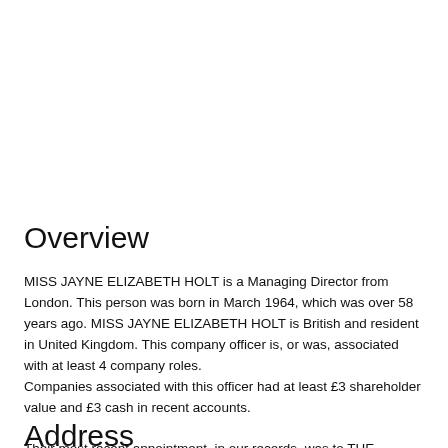Overview
MISS JAYNE ELIZABETH HOLT is a Managing Director from London. This person was born in March 1964, which was over 58 years ago. MISS JAYNE ELIZABETH HOLT is British and resident in United Kingdom. This company officer is, or was, associated with at least 4 company roles.
Companies associated with this officer had at least £3 shareholder value and £3 cash in recent accounts.

Their most recent appointment, in our records, was to THE MARCH GROUP LTD on 2020-09-23.
Address